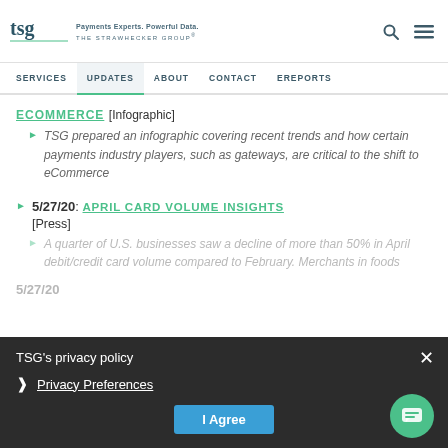TSG - The Strawhecker Group. Payments Experts. Powerful Data.
SERVICES | UPDATES | ABOUT | CONTACT | EREPORTS
ECOMMERCE [Infographic]
TSG prepared an infographic covering recent trends and how certain payments industry players, such as gateways, are critical to the shift to eCommerce
5/27/20: APRIL CARD VOLUME INSIGHTS [Press]
A quarter of U.S. businesses saw a decline of more than 50% in April debit/credit card volume compared to February. Merchants in foods
TSG's privacy policy
Privacy Preferences
I Agree